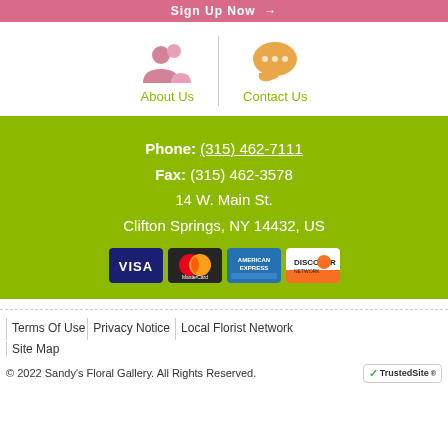Sign Up Now →
[Figure (illustration): Two navigation icons: a pink people/about-us icon and an orange chat/contact-us icon, separated by a vertical line, with green labels 'About Us' and 'Contact Us']
Phone: (315) 462-7111
Fax: (315) 462-3578
14 W. Main St.
Clifton Springs, NY 14432, US
[Figure (illustration): Credit card logos: Visa, MasterCard, American Express, Discover]
| Terms Of Use | Privacy Notice | Local Florist Network
| Site Map
© 2022 Sandy's Floral Gallery. All Rights Reserved.
[Figure (logo): TrustedSite checkmark badge]